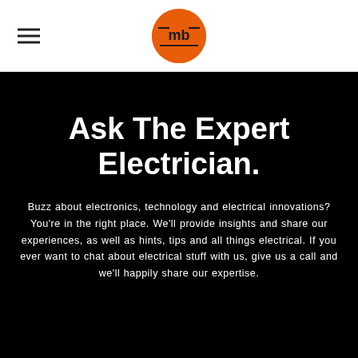[Figure (logo): Orange circle logo with 'mb' text and underline decoration, centered in white header bar]
Ask The Expert Electrician.
Buzz about electronics, technology and electrical innovations? You're in the right place. We'll provide insights and share our experiences, as well as hints, tips and all things electrical. If you ever want to chat about electrical stuff with us, give us a call and we'll happily share our expertise.